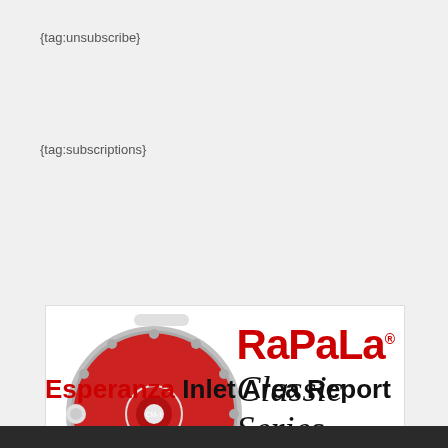{tag:unsubscribe}
{tag:subscriptions}
[Figure (illustration): Rapala Classic Series advertisement featuring a red fly fishing reel (Classic Moocher) on the left, Rapala logo in red on the upper right, 'Classic Series' in black italic serif below, social media icons (Instagram, Twitter, Facebook) bottom right, and tagline '...Salmon don't stand a chance.' bottom left]
Esperanza Inlet Area Report